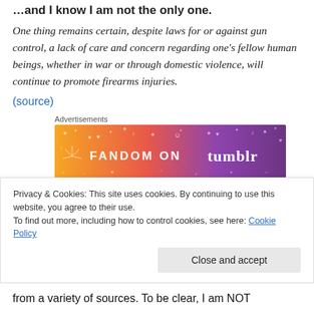…and I know I am not the only one.
One thing remains certain, despite laws for or against gun control, a lack of care and concern regarding one's fellow human beings, whether in war or through domestic violence, will continue to promote firearms injuries.
(source)
Advertisements
[Figure (other): Fandom on Tumblr advertisement banner with orange-to-purple gradient background and decorative musical notes and symbols]
Post Script: 6/12/2016
Privacy & Cookies: This site uses cookies. By continuing to use this website, you agree to their use.
To find out more, including how to control cookies, see here: Cookie Policy
from a variety of sources. To be clear, I am NOT